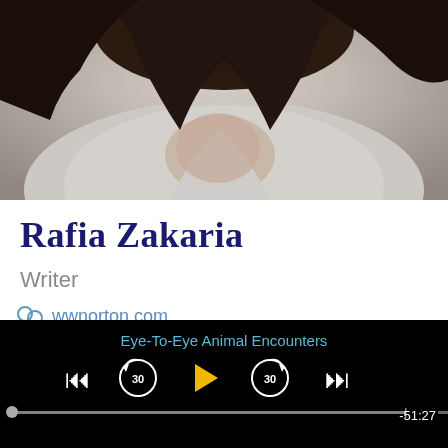[Figure (photo): Cropped photo of a person with dark hair wearing a light gray shirt, arms raised, photo is cropped at neck/shoulder level]
Rafia Zakaria
Writer
wwnorton.com
[Figure (screenshot): Audio/media player bar with title 'Eye-To-Eye Animal Encounters', playback controls (skip back, back 30s, play, forward 30s, skip forward), progress bar showing 00:00 | -51:27]